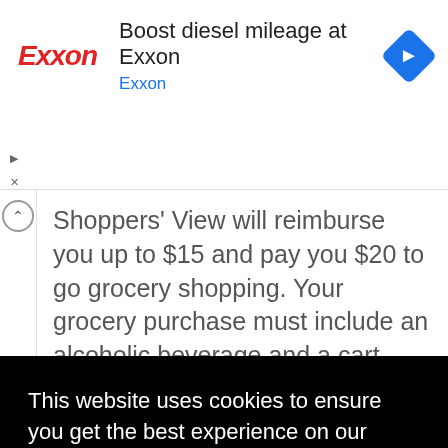[Figure (screenshot): Exxon advertisement banner: Exxon logo in red italic text on the left, headline 'Boost diesel mileage at Exxon' in dark text, subheading 'Exxon' in blue, and a blue diamond-shaped navigation icon on the right.]
Shoppers' View will reimburse you up to $15 and pay you $20 to go grocery shopping. Your grocery purchase must include an alcoholic beverage and a cart bottom item. You must be 21-35 years of age. If you are assigned this
This website uses cookies to ensure you get the best experience on our website.
Learn more
Got it!
anyone know which MSC is currently shopping